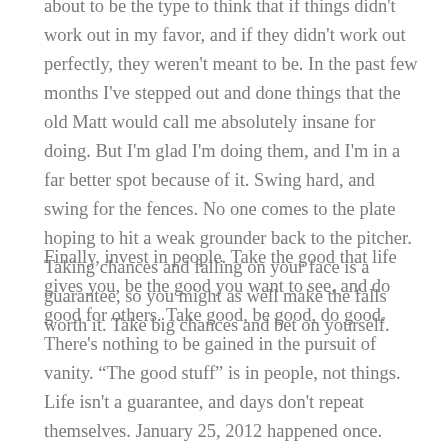about to be the type to think that if things didn't work out in my favor, and if they didn't work out perfectly, they weren't meant to be. In the past few months I've stepped out and done things that the old Matt would call me absolutely insane for doing. But I'm glad I'm doing them, and I'm in a far better spot because of it. Swing hard, and swing for the fences. No one comes to the plate hoping to hit a weak grounder back to the pitcher. Taking chances and falling on your face is a guarantee, so you might as well make the falls worth it. Take big chances and bet on yourself.
Finally, invest in people. Take the good that life gives you, be the good you want to see, and do good for others. Take good, be good, do good. There's nothing to be gained in the pursuit of vanity. "The good stuff" is in people, not things. Life isn't a guarantee, and days don't repeat themselves. January 25, 2012 happened once. August 31, 2016 happens once. Life ebbs and flows and is as unpredictable as the forecast of a